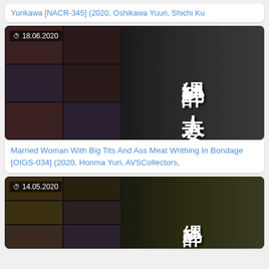Yurikawa [NACR-345] (2020, Oshikawa Yuuri, Shichi Ku
[Figure (photo): Japanese adult video cover for OIGS-034, dated 18.06.2020, showing bondage-themed content with Japanese text 縄酔い人妻]
Married Woman With Big Tits And Ass Meat Writhing In Bondage [OIGS-034] (2020, Honma Yuri, AVSCollectors,
[Figure (photo): Japanese adult video cover dated 14.05.2020, showing bondage-themed content with Japanese text 縄酔]